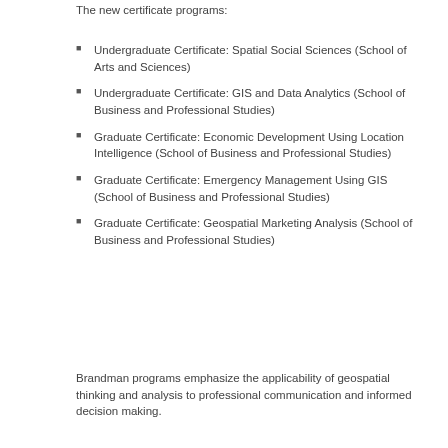The new certificate programs:
Undergraduate Certificate: Spatial Social Sciences (School of Arts and Sciences)
Undergraduate Certificate: GIS and Data Analytics (School of Business and Professional Studies)
Graduate Certificate: Economic Development Using Location Intelligence (School of Business and Professional Studies)
Graduate Certificate: Emergency Management Using GIS (School of Business and Professional Studies)
Graduate Certificate: Geospatial Marketing Analysis (School of Business and Professional Studies)
Brandman programs emphasize the applicability of geospatial thinking and analysis to professional communication and informed decision making.